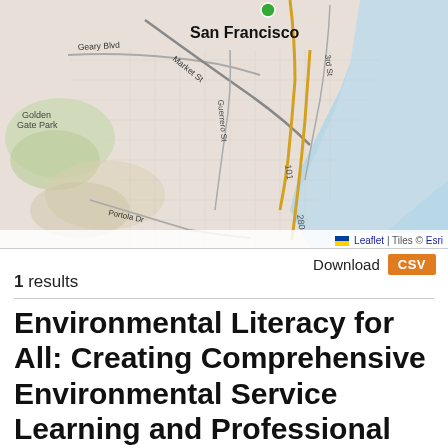[Figure (map): Street map of San Francisco showing Geary Blvd, Market St, Guerrero St, Portola Dr, 3rd St, 101, 280 highways, and surrounding bay water to the east. Golden Gate Park visible on the left. Leaflet | Tiles © Esri attribution shown.]
Download CSV
1 results
Environmental Literacy for All: Creating Comprehensive Environmental Service Learning and Professional Development for Diverse K-12 Students and Teachers